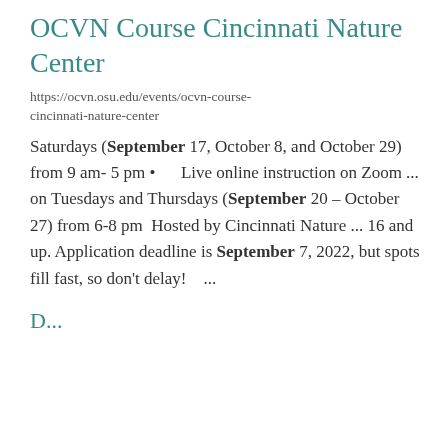OCVN Course Cincinnati Nature Center
https://ocvn.osu.edu/events/ocvn-course-cincinnati-nature-center
Saturdays (September 17, October 8, and October 29) from 9 am- 5 pm • Live online instruction on Zoom ... on Tuesdays and Thursdays (September 20 – October 27) from 6-8 pm Hosted by Cincinnati Nature ... 16 and up. Application deadline is September 7, 2022, but spots fill fast, so don't delay! ...
D...